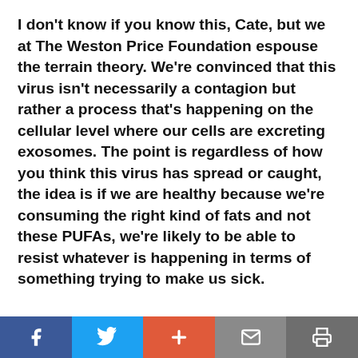I don't know if you know this, Cate, but we at The Weston Price Foundation espouse the terrain theory. We're convinced that this virus isn't necessarily a contagion but rather a process that's happening on the cellular level where our cells are excreting exosomes. The point is regardless of how you think this virus has spread or caught, the idea is if we are healthy because we're consuming the right kind of fats and not these PUFAs, we're likely to be able to resist whatever is happening in terms of something trying to make us sick.
Facebook | Twitter | Plus | Mail | Print